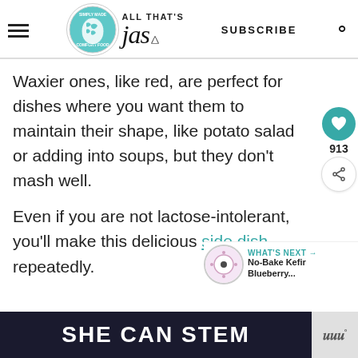ALL THAT'S jas — SUBSCRIBE
Waxier ones, like red, are perfect for dishes where you want them to maintain their shape, like potato salad or adding into soups, but they don't mash well.
Even if you are not lactose-intolerant, you'll make this delicious side dish repeatedly.
[Figure (other): Social share widget with heart/like button (913 likes) and share button on right side]
[Figure (other): 'WHAT'S NEXT' widget showing No-Bake Kefir Blueberry... with circular thumbnail]
[Figure (other): Ad banner reading SHE CAN STEM on dark background with logo on right]